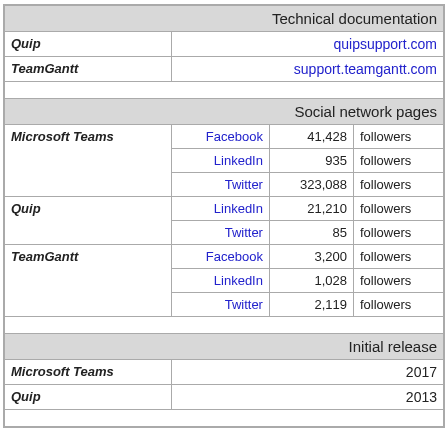|  | Technical documentation |
| --- | --- |
| Quip | quipsupport.com |
| TeamGantt | support.teamgantt.com |
|  |  |
|  | Social network pages |
| Microsoft Teams | Facebook 41,428 followers
LinkedIn 935 followers
Twitter 323,088 followers |
| Quip | LinkedIn 21,210 followers
Twitter 85 followers |
| TeamGantt | Facebook 3,200 followers
LinkedIn 1,028 followers
Twitter 2,119 followers |
|  |  |
|  | Initial release |
| Microsoft Teams | 2017 |
| Quip | 2013 |